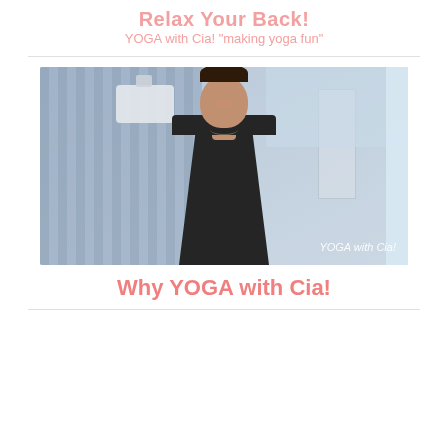Relax Your Back!
YOGA with Cia! "making yoga fun"
[Figure (photo): Video thumbnail showing a smiling woman in a black tank top in an indoor space with a basketball hoop visible on the left. Text overlay reads 'YOGA with Cia!' in the bottom right corner.]
Why YOGA with Cia!